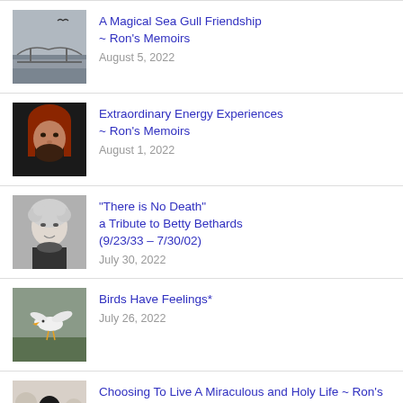A Magical Sea Gull Friendship ~ Ron's Memoirs | August 5, 2022
Extraordinary Energy Experiences ~ Ron's Memoirs | August 1, 2022
"There is No Death" a Tribute to Betty Bethards (9/23/33 – 7/30/02) | July 30, 2022
Birds Have Feelings* | July 26, 2022
Choosing To Live A Miraculous and Holy Life ~ Ron's Memoirs | July 18, 2022